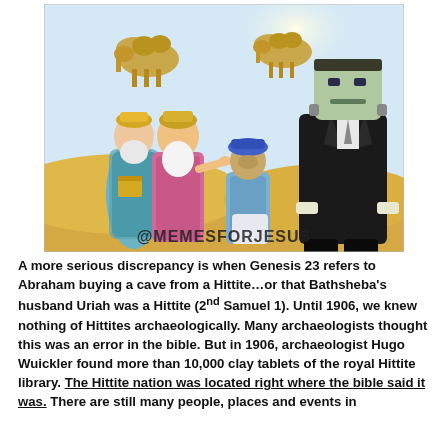[Figure (illustration): A cartoon/comic illustration showing three wise men or ancient robed figures (one with a white beard and crown, one in red robe, one shorter in blue turban) facing a Frankenstein-like tall figure in a black suit. Camels are visible in the background against a desert/sandy backdrop with a bright sky. The watermark '@MEMESFORJESUS' appears at the bottom of the image.]
A more serious discrepancy is when Genesis 23 refers to Abraham buying a cave from a Hittite…or that Bathsheba's husband Uriah was a Hittite (2nd Samuel 1). Until 1906, we knew nothing of Hittites archaeologically. Many archaeologists thought this was an error in the bible. But in 1906, archaeologist Hugo Wuickler found more than 10,000 clay tablets of the royal Hittite library. The Hittite nation was located right where the bible said it was. There are still many people, places and events in